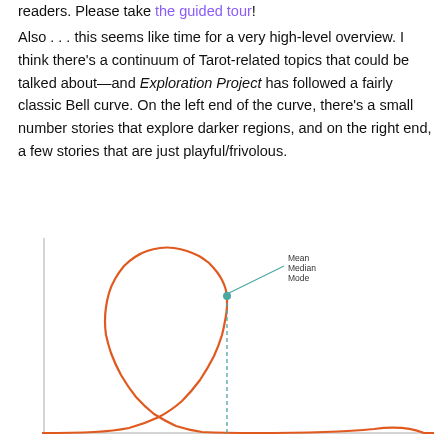readers. Please take the guided tour!
Also . . . this seems like time for a very high-level overview. I think there's a continuum of Tarot-related topics that could be talked about—and Exploration Project has followed a fairly classic Bell curve. On the left end of the curve, there's a small number stories that explore darker regions, and on the right end, a few stories that are just playful/frivolous.
[Figure (continuous-plot): A bell curve (normal distribution) drawn in orange with a teal dashed vertical line at the peak. The peak is marked with a teal dot and a labeled annotation reading 'Mean Median Mode'. The x-axis is a horizontal line; there are no tick labels.]